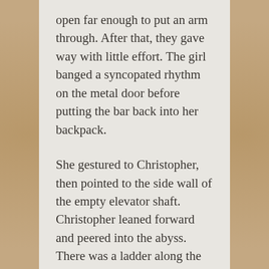open far enough to put an arm through. After that, they gave way with little effort. The girl banged a syncopated rhythm on the metal door before putting the bar back into her backpack.
She gestured to Christopher, then pointed to the side wall of the empty elevator shaft. Christopher leaned forward and peered into the abyss. There was a ladder along the indicated wall, leading up and down into darkness.
“Up or down?”